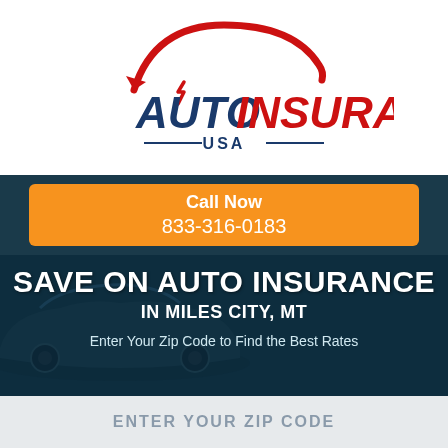[Figure (logo): Auto Insurance USA logo with red car silhouette arc on top, bold dark blue AUTO and red INSURANCE text, USA text centered below with horizontal lines]
Call Now
833-316-0183
SAVE ON AUTO INSURANCE
IN MILES CITY, MT
Enter Your Zip Code to Find the Best Rates
ENTER YOUR ZIP CODE